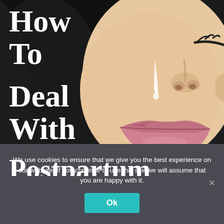[Figure (illustration): Illustrated close-up of a woman's face (nose, lips, cheek) with a teardrop on her cheek, dark hair, against a black background. Vector/cartoon art style.]
How To Deal With Postpartum
We use cookies to ensure that we give you the best experience on our website. If you continue to use this site we will assume that you are happy with it.